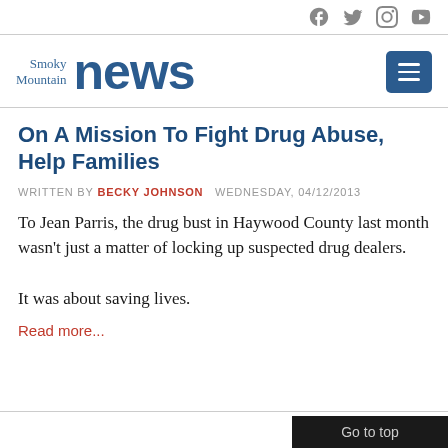Smoky Mountain news — social icons: Facebook, Twitter, Instagram, YouTube
[Figure (logo): Smoky Mountain News logo with blue text and menu button]
On A Mission To Fight Drug Abuse, Help Families
WRITTEN BY BECKY JOHNSON   WEDNESDAY, 04/12/2013
To Jean Parris, the drug bust in Haywood County last month wasn't just a matter of locking up suspected drug dealers.
It was about saving lives.
Read more...
Go to top